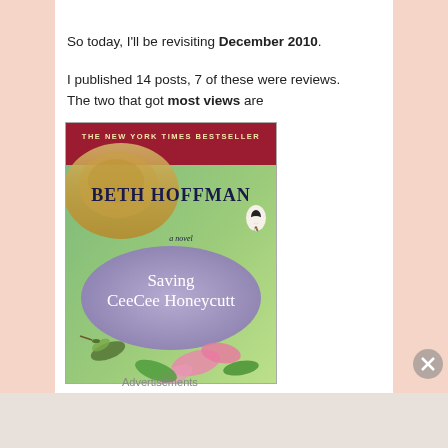So today, I'll be revisiting December 2010.
I published 14 posts, 7 of these were reviews. The two that got most views are
[Figure (illustration): Book cover of 'Saving CeeCee Honeycutt' by Beth Hoffman, labeled 'The New York Times Bestseller'. Features a hummingbird, pink flowers, gold architectural detail, and a purple oval with the book title. Penguin Books logo visible.]
Advertisements